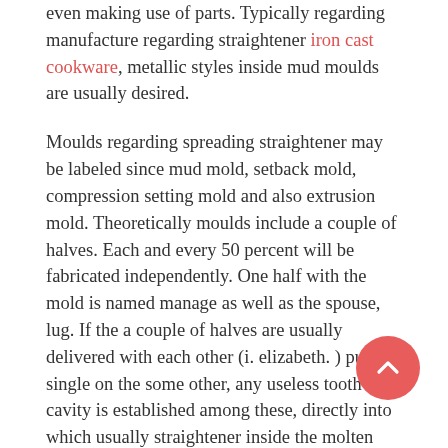even making use of parts. Typically regarding manufacture regarding straightener iron cast cookware, metallic styles inside mud moulds are usually desired.
Moulds regarding spreading straightener may be labeled since mud mold, setback mold, compression setting mold and also extrusion mold. Theoretically moulds include a couple of halves. Each and every 50 percent will be fabricated independently. One half with the mold is named manage as well as the spouse, lug. If the a couple of halves are usually delivered with each other (i. elizabeth. ) put a single on the some other, any useless tooth cavity is established among these, directly into which usually straightener inside the molten express inside added and also allowed to firm up to be able to receive the necessary spreading.
A normal mud mold contains 85% mud, 7. 5% bentonite, 3. 5% coal airborne dirt and dust and also 4% h2o. Bentonite can be an impure kind of clay